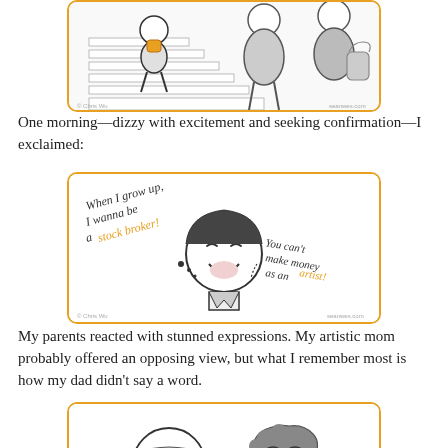[Figure (illustration): Cartoon illustration of a child sitting on stairs holding an object, with two adults standing nearby, one in a coat with a bag.]
One morning—dizzy with excitement and seeking confirmation—I exclaimed:
[Figure (illustration): Cartoon illustration of a child saying 'When I grow up, I wanna be a stock broker!' with a response 'You can't make money as an artist!' The words 'stock broker' and 'artist' are highlighted in orange.]
My parents reacted with stunned expressions. My artistic mom probably offered an opposing view, but what I remember most is how my dad didn't say a word.
[Figure (illustration): Partial cartoon illustration showing two adult faces — one with glasses and one with curly hair — with stunned expressions.]